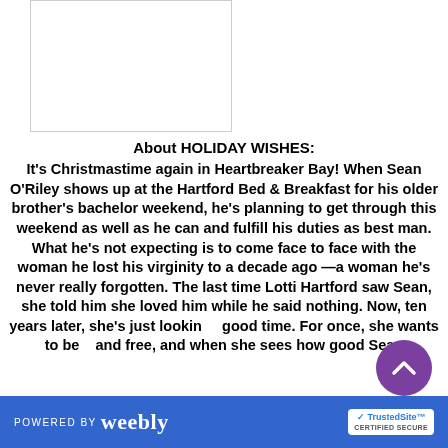[Figure (other): White rectangular image placeholder box with thin gray border]
About HOLIDAY WISHES:
It’s Christmastime again in Heartbreaker Bay! When Sean O’Riley shows up at the Hartford Bed & Breakfast for his older brother’s bachelor weekend, he’s planning to get through this weekend as well as he can and fulfill his duties as best man. What he’s not expecting is to come face to face with the woman he lost his virginity to a decade ago—a woman he’s never really forgotten. The last time Lotti Hartford saw Sean, she told him she loved him while he said nothing. Now, ten years later, she’s just looking for a good time. For once, she wants to be wild and free, and when she sees how good Sean
POWERED BY weebly | TrustedSite CERTIFIED SECURE